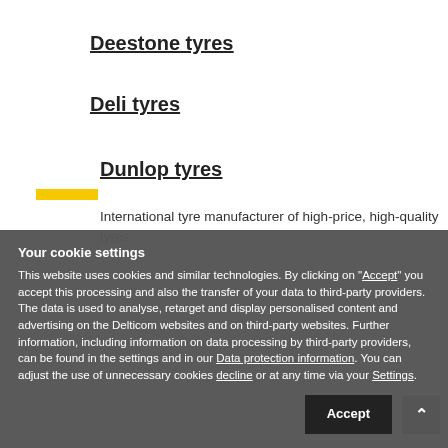Deestone tyres
Deli tyres
Dunlop tyres
International tyre manufacturer of high-price, high-quality tyres
Your cookie settings
This website uses cookies and similar technologies. By clicking on "Accept" you accept this processing and also the transfer of your data to third-party providers. The data is used to analyse, retarget and display personalised content and advertising on the Delticom websites and on third-party websites. Further information, including information on data processing by third-party providers, can be found in the settings and in our Data protection information. You can adjust the use of unnecessary cookies decline or at any time via your Settings.